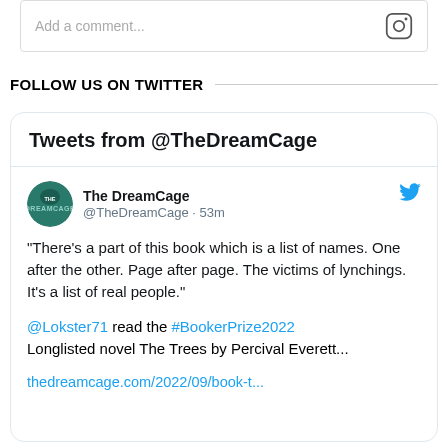[Figure (screenshot): Instagram comment input bar with placeholder text 'Add a comment...' and Instagram icon on the right]
FOLLOW US ON TWITTER
Tweets from @TheDreamCage
The DreamCage @TheDreamCage · 53m
"There's a part of this book which is a list of names. One after the other. Page after page. The victims of lynchings. It's a list of real people."
@Lokster71 read the #BookerPrize2022 Longlisted novel The Trees by Percival Everett...
thedreamcage.com/2022/09/book-t...